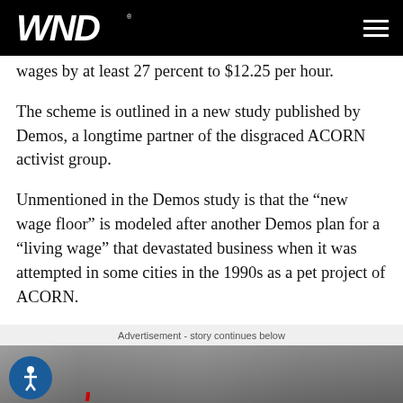WND
wages by at least 27 percent to $12.25 per hour.
The scheme is outlined in a new study published by Demos, a longtime partner of the disgraced ACORN activist group.
Unmentioned in the Demos study is that the “new wage floor” is modeled after another Demos plan for a “living wage” that devastated business when it was attempted in some cities in the 1990s as a pet project of ACORN.
Advertisement - story continues below
[Figure (photo): Photograph of people at what appears to be a meeting or protest, partially visible at the bottom of the page. An accessibility icon button is visible in the lower left.]